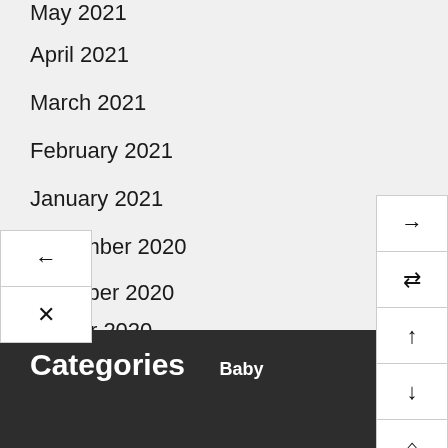May 2021
April 2021
March 2021
February 2021
January 2021
December 2020
November 2020
October 2020
Categories
Baby